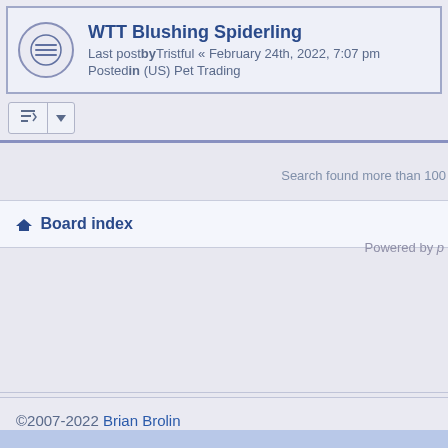WTT Blushing Spiderling
Last postbyTristful « February 24th, 2022, 7:07 pm
Postedin (US) Pet Trading
Search found more than 100
Board index
Powered by p
©2007-2022 Brian Brolin